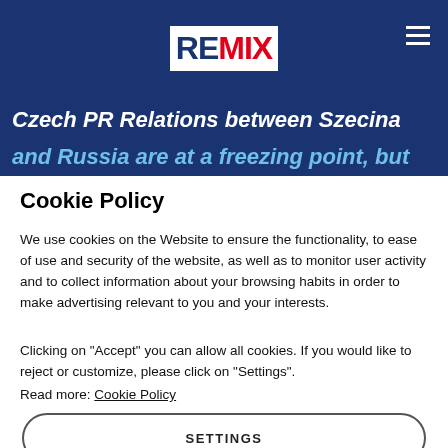[Figure (logo): REMIX news website logo — white box with dark blue 'RE' and red 'MIX' text, on a dark blue header background with hamburger menu icon top right]
Czech PR Relations between Szecina
and Russia are at a freezing point, but
Cookie Policy
We use cookies on the Website to ensure the functionality, to ease of use and security of the website, as well as to monitor user activity and to collect information about your browsing habits in order to make advertising relevant to you and your interests.
Clicking on "Accept" you can allow all cookies. If you would like to reject or customize, please click on "Settings".
Read more: Cookie Policy